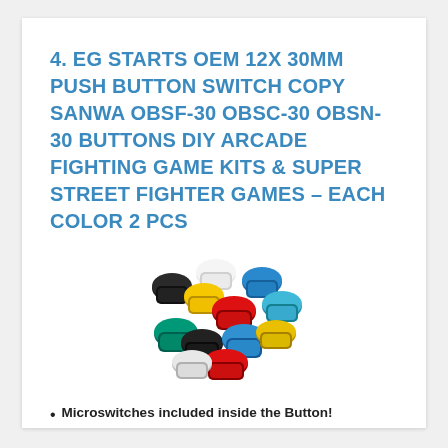4. EG STARTS OEM 12X 30MM PUSH BUTTON SWITCH COPY SANWA OBSF-30 OBSC-30 OBSN-30 BUTTONS DIY ARCADE FIGHTING GAME KITS & SUPER STREET FIGHTER GAMES – EACH COLOR 2 PCS
[Figure (photo): A collection of colorful 30mm arcade push buttons in multiple colors: black, white, yellow, blue, red, teal/green, arranged in a loose circular cluster.]
Microswitches included inside the Button!